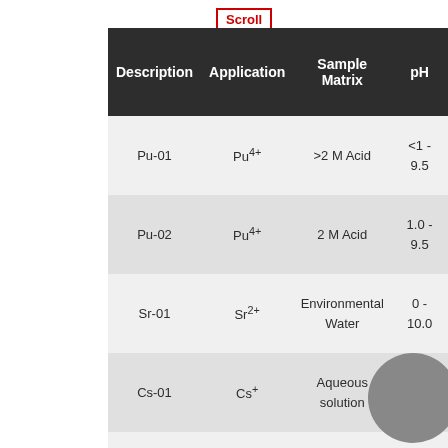| Description | Application | Sample Matrix | pH |
| --- | --- | --- | --- |
| Pu-01 | Pu4+ | >2 M Acid | <1 - 9.5 |
| Pu-02 | Pu4+ | 2 M Acid | 1.0 - 9.5 |
| Sr-01 | Sr2+ | Environmental Water | 0 - 10.0 |
| Cs-01 | Cs+ | Aqueous solution | 8.5 - 9.5 |
| Cs-02 | Cs+ | Aqueous solution | 12< |